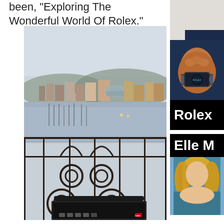been, "Exploring The Wonderful World Of Rolex."
[Figure (photo): View from a balcony with ornate iron railing over a waterfront city scene, with a laptop visible in the lower portion]
[Figure (photo): Close-up of a person's wrist wearing a Rolex watch, wearing a dark blue suit jacket]
Rolex
Elle M
[Figure (photo): Partial view of a woman with blonde hair, teal/blue background]